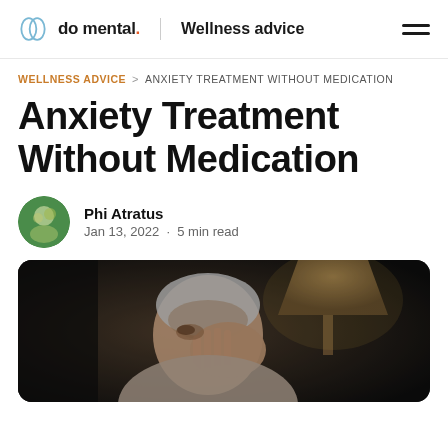do mental. | Wellness advice
WELLNESS ADVICE > ANXIETY TREATMENT WITHOUT MEDICATION
Anxiety Treatment Without Medication
Phi Atratus
Jan 13, 2022 · 5 min read
[Figure (photo): An anxious middle-aged man with gray hair holds his face in his hand, looking distressed, seated in a dark room with a lamp visible in the background.]